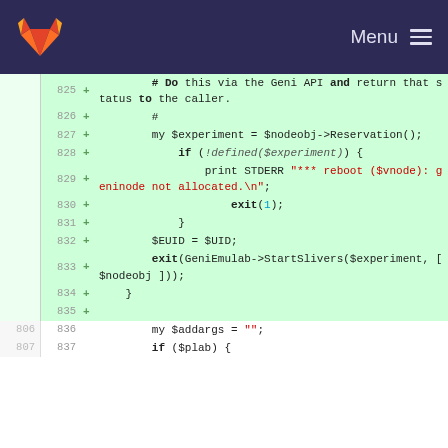GitLab navbar with logo and Menu
[Figure (screenshot): Code diff view showing Perl code lines 825-837 with added lines highlighted in green]
825  +          # Do this via the Geni API and return that status to the caller.
826  +          #
827  +          my $experiment = $nodeobj->Reservation();
828  +              if (!defined($experiment)) {
829  +                  print STDERR "*** reboot ($vnode): geninode not allocated.\n";
830  +                      exit(1);
831  +              }
832  +          $EUID = $UID;
833  +          exit(GeniEmulab->StartSlivers($experiment, [ $nodeobj ]));
834  +      }
835  +
806  836          my $addargs = "";
807  837          if ($plab) {